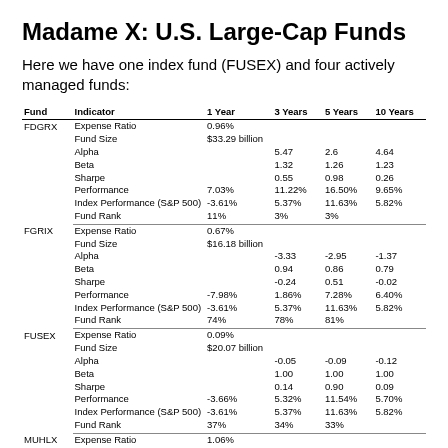Madame X: U.S. Large-Cap Funds
Here we have one index fund (FUSEX) and four actively managed funds:
| Fund | Indicator | 1 Year | 3 Years | 5 Years | 10 Years |
| --- | --- | --- | --- | --- | --- |
| FDGRX | Expense Ratio | 0.96% |  |  |  |
|  | Fund Size | $33.29 billion |  |  |  |
|  | Alpha |  | 5.47 | 2.6 | 4.64 |
|  | Beta |  | 1.32 | 1.26 | 1.23 |
|  | Sharpe |  | 0.55 | 0.98 | 0.26 |
|  | Performance | 7.03% | 11.22% | 16.50% | 9.65% |
|  | Index Performance (S&P 500) | -3.61% | 5.37% | 11.63% | 5.82% |
|  | Fund Rank | 11% | 3% | 3% |  |
| FGRIX | Expense Ratio | 0.67% |  |  |  |
|  | Fund Size | $16.18 billion |  |  |  |
|  | Alpha |  | -3.33 | -2.95 | -1.37 |
|  | Beta |  | 0.94 | 0.86 | 0.79 |
|  | Sharpe |  | -0.24 | 0.51 | -0.02 |
|  | Performance | -7.98% | 1.86% | 7.28% | 6.40% |
|  | Index Performance (S&P 500) | -3.61% | 5.37% | 11.63% | 5.82% |
|  | Fund Rank | 74% | 78% | 81% |  |
| FUSEX | Expense Ratio | 0.09% |  |  |  |
|  | Fund Size | $20.07 billion |  |  |  |
|  | Alpha |  | -0.05 | -0.09 | -0.12 |
|  | Beta |  | 1.00 | 1.00 | 1.00 |
|  | Sharpe |  | 0.14 | 0.90 | 0.09 |
|  | Performance | -3.66% | 5.32% | 11.54% | 5.70% |
|  | Index Performance (S&P 500) | -3.61% | 5.37% | 11.63% | 5.82% |
|  | Fund Rank | 37% | 34% | 33% |  |
| MUHLX | Expense Ratio | 1.06% |  |  |  |
|  | Fund Size | $10.5 billion |  |  |  |